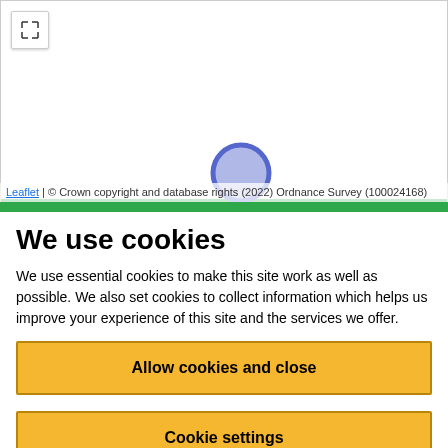[Figure (map): Interactive map with white background showing a blue circle/location marker near center-bottom, a green horizontal bar at the bottom edge, and a fullscreen expand button in the top-left corner.]
Leaflet | © Crown copyright and database rights (2022) Ordnance Survey (100024168)
We use cookies
We use essential cookies to make this site work as well as possible. We also set cookies to collect information which helps us improve your experience of this site and the services we offer.
Allow cookies and close
Cookie settings